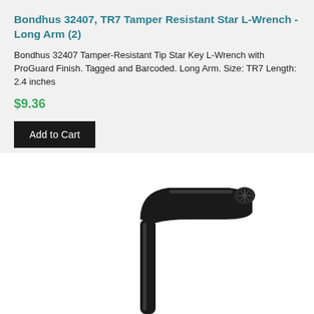Bondhus 32407, TR7 Tamper Resistant Star L-Wrench - Long Arm (2)
Bondhus 32407 Tamper-Resistant Tip Star Key L-Wrench with ProGuard Finish. Tagged and Barcoded. Long Arm. Size: TR7 Length: 2.4 inches
$9.36
Add to Cart
[Figure (photo): Black Bondhus TR7 Tamper Resistant Star L-Wrench with long arm, shown against white background. The L-shaped wrench has a star/torx tip and black ProGuard finish.]